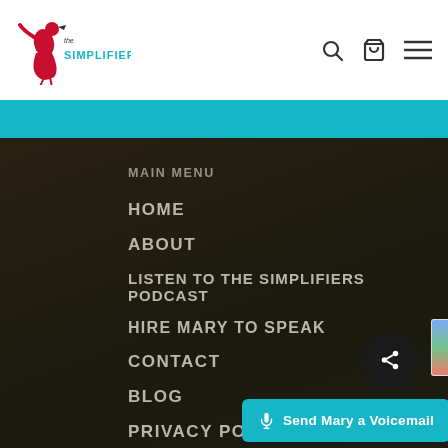[Figure (logo): The Simplifiers logo — red flamingo-like figure wearing a dress, with 'The Simplifiers' text in teal/black]
Header navigation with search, cart, and menu icons
MAIN MENU
HOME
ABOUT
LISTEN TO THE SIMPLIFIERS PODCAST
HIRE MARY TO SPEAK
CONTACT
BLOG
PRIVACY POLICY